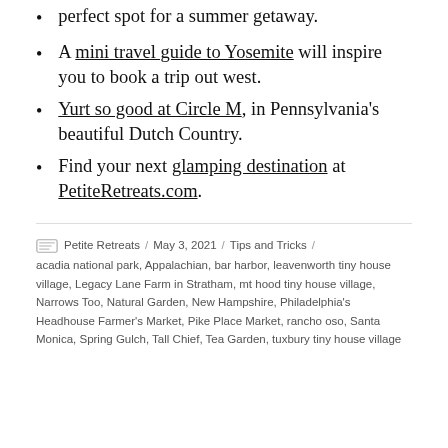perfect spot for a summer getaway.
A mini travel guide to Yosemite will inspire you to book a trip out west.
Yurt so good at Circle M, in Pennsylvania's beautiful Dutch Country.
Find your next glamping destination at PetiteRetreats.com.
Petite Retreats / May 3, 2021 / Tips and Tricks / acadia national park, Appalachian, bar harbor, leavenworth tiny house village, Legacy Lane Farm in Stratham, mt hood tiny house village, Narrows Too, Natural Garden, New Hampshire, Philadelphia's Headhouse Farmer's Market, Pike Place Market, rancho oso, Santa Monica, Spring Gulch, Tall Chief, Tea Garden, tuxbury tiny house village